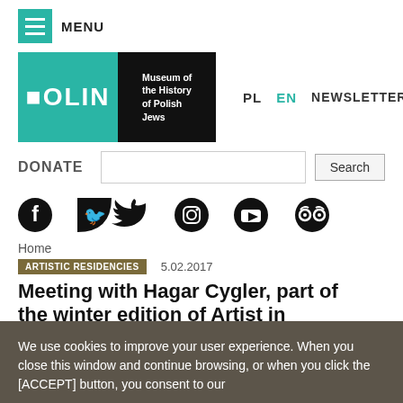MENU
[Figure (logo): POLIN Museum of the History of Polish Jews logo with teal and black sections]
PL  EN  NEWSLETTER
DONATE  Search
[Figure (infographic): Social media icons: Facebook, Twitter, Instagram, YouTube, TripAdvisor]
Home
ARTISTIC RESIDENCIES  5.02.2017
Meeting with Hagar Cygler, part of the winter edition of Artist in
We use cookies to improve your user experience. When you close this window and continue browsing, or when you click the [ACCEPT] button, you consent to our